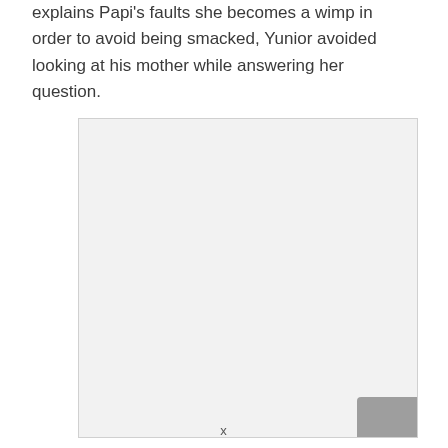explains Papi's faults she becomes a wimp in order to avoid being smacked, Yunior avoided looking at his mother while answering her question.
[Figure (other): A large light gray blank rectangular box, possibly a placeholder for an image or figure. A darker gray tab element is visible at the bottom-right corner.]